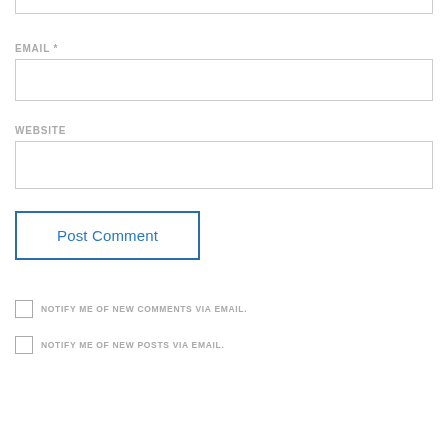EMAIL *
[Figure (other): Email input text field, empty, with grey border]
WEBSITE
[Figure (other): Website input text field, empty, with grey border]
Post Comment
NOTIFY ME OF NEW COMMENTS VIA EMAIL.
NOTIFY ME OF NEW POSTS VIA EMAIL.